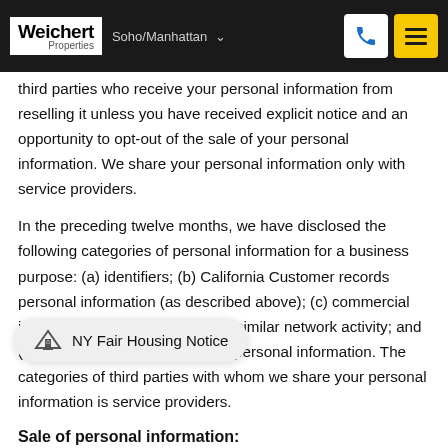Weichert Properties Soho/Manhattan
third parties who receive your personal information from reselling it unless you have received explicit notice and an opportunity to opt-out of the sale of your personal information. We share your personal information only with service providers.
In the preceding twelve months, we have disclosed the following categories of personal information for a business purpose: (a) identifiers; (b) California Customer records personal information (as described above); (c) commercial information; (d) internet or other similar network activity; and (e) inferences drawn from other personal information. The categories of third parties with whom we share your personal information is service providers.
NY Fair Housing Notice
Sale of personal information: